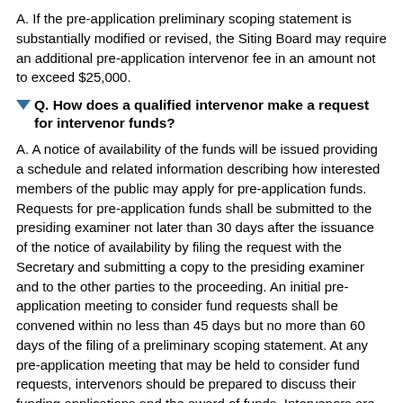A. If the pre-application preliminary scoping statement is substantially modified or revised, the Siting Board may require an additional pre-application intervenor fee in an amount not to exceed $25,000.
Q. How does a qualified intervenor make a request for intervenor funds?
A. A notice of availability of the funds will be issued providing a schedule and related information describing how interested members of the public may apply for pre-application funds. Requests for pre-application funds shall be submitted to the presiding examiner not later than 30 days after the issuance of the notice of availability by filing the request with the Secretary and submitting a copy to the presiding examiner and to the other parties to the proceeding. An initial pre-application meeting to consider fund requests shall be convened within no less than 45 days but no more than 60 days of the filing of a preliminary scoping statement. At any pre-application meeting that may be held to consider fund requests, intervenors should be prepared to discuss their funding applications and the award of funds. Intervenors are encouraged to consider the consolidation of requests with similar funding proposals of other intervenors.
Q. When are pre-application intervenor funds awarded?